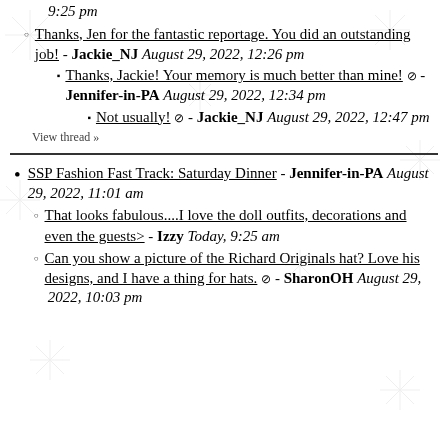9:25 pm
Thanks, Jen for the fantastic reportage. You did an outstanding job! - Jackie_NJ August 29, 2022, 12:26 pm
Thanks, Jackie! Your memory is much better than mine! ⊘ - Jennifer-in-PA August 29, 2022, 12:34 pm
Not usually! ⊘ - Jackie_NJ August 29, 2022, 12:47 pm
View thread »
SSP Fashion Fast Track: Saturday Dinner - Jennifer-in-PA August 29, 2022, 11:01 am
That looks fabulous....I love the doll outfits, decorations and even the guests> - Izzy Today, 9:25 am
Can you show a picture of the Richard Originals hat? Love his designs, and I have a thing for hats. ⊘ - SharonOH August 29, 2022, 10:03 pm